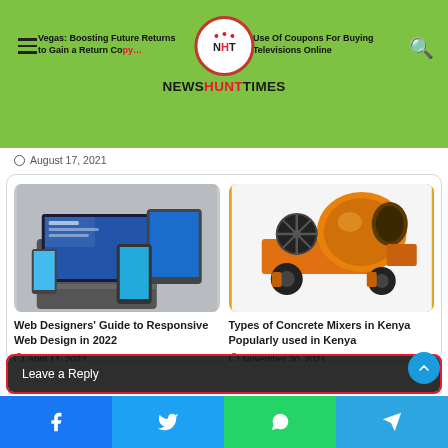NewshuntTimes - Vegas: Boosting Future Returns to Gain a Return Copy | Use Of Coupons For Buying Televisions Online
August 17, 2021
[Figure (photo): Photo of laptop and mobile devices showing web design layouts]
Web Designers' Guide to Responsive Web Design in 2022
April 11, 2022
[Figure (photo): Photo of an orange concrete mixer machine on wheels]
Types of Concrete Mixers in Kenya Popularly used in Kenya
November 30, 2021
Leave a Reply
Facebook | Twitter | WhatsApp | Telegram